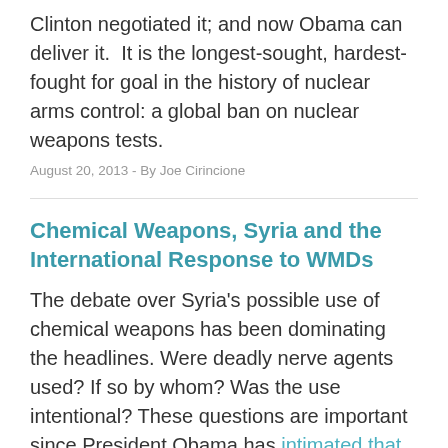Clinton negotiated it; and now Obama can deliver it.  It is the longest-sought, hardest-fought for goal in the history of nuclear arms control: a global ban on nuclear weapons tests.
August 20, 2013 - By Joe Cirincione
Chemical Weapons, Syria and the International Response to WMDs
The debate over Syria's possible use of chemical weapons has been dominating the headlines. Were deadly nerve agents used? If so by whom? Was the use intentional? These questions are important since President Obama has intimated that, if confirmed, the use of chemical weapons could change U.S.